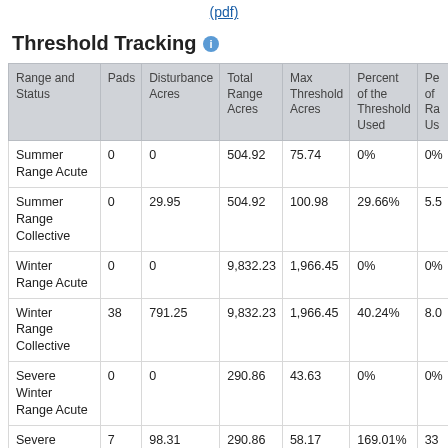(pdf)
Threshold Tracking
| Range and Status | Pads | Disturbance Acres | Total Range Acres | Max Threshold Acres | Percent of the Threshold Used | Pe of Ra Us |
| --- | --- | --- | --- | --- | --- | --- |
| Summer Range Acute | 0 | 0 | 504.92 | 75.74 | 0% | 0% |
| Summer Range Collective | 0 | 29.95 | 504.92 | 100.98 | 29.66% | 5.5 |
| Winter Range Acute | 0 | 0 | 9,832.23 | 1,966.45 | 0% | 0% |
| Winter Range Collective | 38 | 791.25 | 9,832.23 | 1,966.45 | 40.24% | 8.0 |
| Severe Winter Range Acute | 0 | 0 | 290.86 | 43.63 | 0% | 0% |
| Severe Winter Range Collective | 7 | 98.31 | 290.86 | 58.17 | 169.01% | 33 |
| Winter Concentration Areas Acute | 0 | 0 | 104.12 | 20.82 | 0% | 0% |
| Winter Concentration Areas Collective | 1 | 28.1 | 104.12 | 20.82 | 134.94% | 26 |